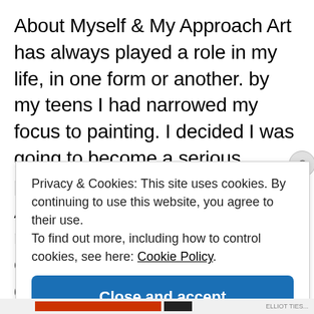About Myself & My Approach Art has always played a role in my life, in one form or another. by my teens I had narrowed my focus to painting. I decided I was going to become a serious painter. I joined the Las Vegas Artist's Guild at 15, the youngest member at that time. I was completely out of place, I tried to go unnoticed, a mute fly on
Privacy & Cookies: This site uses cookies. By continuing to use this website, you agree to their use.
To find out more, including how to control cookies, see here: Cookie Policy
Close and accept